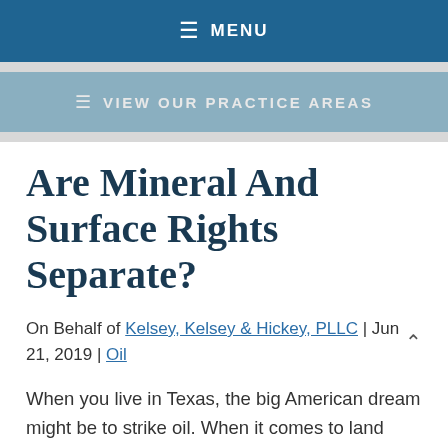MENU
VIEW OUR PRACTICE AREAS
Are Mineral And Surface Rights Separate?
On Behalf of Kelsey, Kelsey & Hickey, PLLC | Jun 21, 2019 | Oil
When you live in Texas, the big American dream might be to strike oil. When it comes to land ownership, there are two categories. You can be a surface owner and a mineral owner. By default,